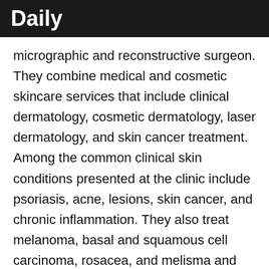Daily
micrographic and reconstructive surgeon. They combine medical and cosmetic skincare services that include clinical dermatology, cosmetic dermatology, laser dermatology, and skin cancer treatment. Among the common clinical skin conditions presented at the clinic include psoriasis, acne, lesions, skin cancer, and chronic inflammation. They also treat melanoma, basal and squamous cell carcinoma, rosacea, and melisma and also perform geriatric skin examinations. Dermatological services at Suncoast include general, geriatric, and pediatric dermatology. They have cosmetic procedures such as botox, chemical peel, dermabrasion, kybella, among other aest… services. The skin specialists use laser technolo…